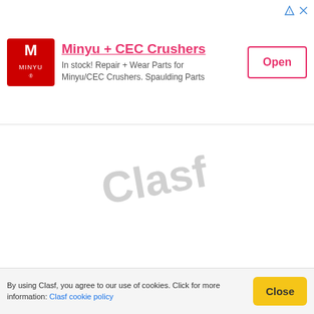[Figure (infographic): Advertisement banner for Minyu + CEC Crushers with red logo on left, company name and description in center, and Open button on right]
[Figure (illustration): Blurred product image showing an outdoor patio table and umbrella set in gray tones, with a watermark text behind it]
Victorian roll top bath with legs
South Africa
VICTORIAN ROLL TOP BATH WITH LEGS WITH SOAP
By using Clasf, you agree to our use of cookies. Click for more information: Clasf cookie policy